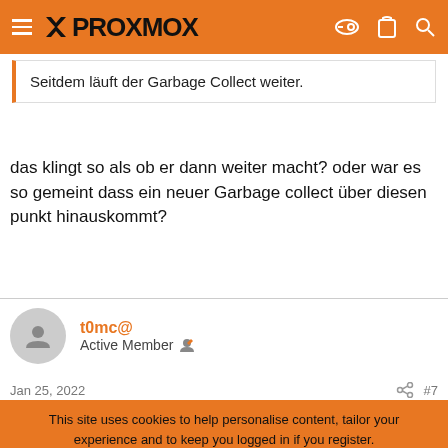PROXMOX
Seitdem läuft der Garbage Collect weiter.
das klingt so als ob er dann weiter macht? oder war es so gemeint dass ein neuer Garbage collect über diesen punkt hinauskommt?
t0mc@
Active Member
Jan 25, 2022  #7
This site uses cookies to help personalise content, tailor your experience and to keep you logged in if you register.
By continuing to use this site, you are consenting to our use of cookies.